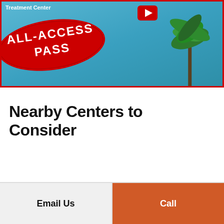[Figure (screenshot): Video thumbnail showing a treatment center with a pool, palm trees, and a red 'ALL-ACCESS PASS' stamp overlay, plus a YouTube play button. Text 'Treatment Center' visible top left.]
Nearby Centers to Consider
Email Us
Call